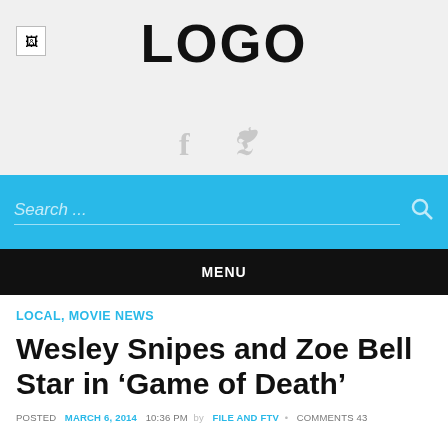[Figure (logo): Broken image icon placeholder in top-left corner of header]
LOGO
[Figure (illustration): Facebook and Twitter social media icons in light gray]
Search ...
MENU
LOCAL, MOVIE NEWS
Wesley Snipes and Zoe Bell Star in ‘Game of Death’
POSTED  MARCH 6, 2014  10:36 PM  by  FILE AND FTV  •  COMMENTS 43